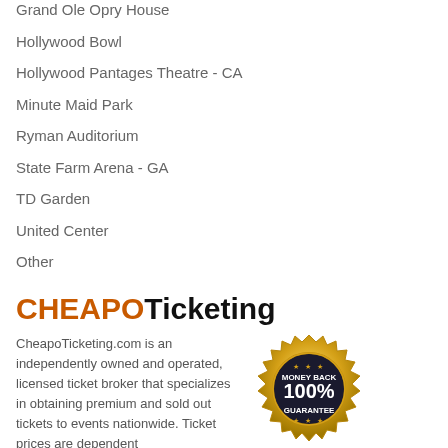Grand Ole Opry House
Hollywood Bowl
Hollywood Pantages Theatre - CA
Minute Maid Park
Ryman Auditorium
State Farm Arena - GA
TD Garden
United Center
Other
[Figure (logo): CHEAPOTicketing logo with CHEAPO in orange and Ticketing in black bold text]
CheapoTicketing.com is an independently owned and operated, licensed ticket broker that specializes in obtaining premium and sold out tickets to events nationwide. Ticket prices are dependent
[Figure (illustration): Money Back 100% Guarantee gold badge/seal]